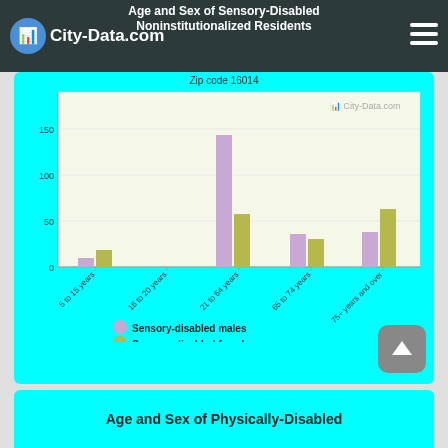Age and Sex of Sensory-Disabled Noninstitutionalized Residents
[Figure (grouped-bar-chart): Age and Sex of Sensory-Disabled Noninstitutionalized Residents]
Age and Sex of Physically-Disabled